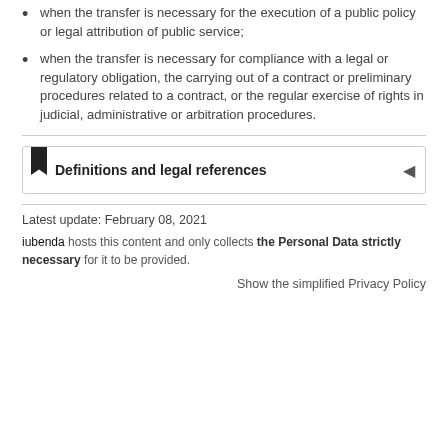when the transfer is necessary for the execution of a public policy or legal attribution of public service;
when the transfer is necessary for compliance with a legal or regulatory obligation, the carrying out of a contract or preliminary procedures related to a contract, or the regular exercise of rights in judicial, administrative or arbitration procedures.
Definitions and legal references
Latest update: February 08, 2021
iubenda hosts this content and only collects the Personal Data strictly necessary for it to be provided.
Show the simplified Privacy Policy